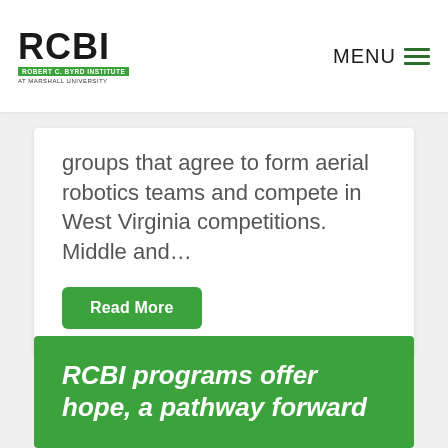RCBI — Robert C. Byrd Institute at Marshall University | MENU
groups that agree to form aerial robotics teams and compete in West Virginia competitions. Middle and…
Read More
RCBI programs offer hope, a pathway forward